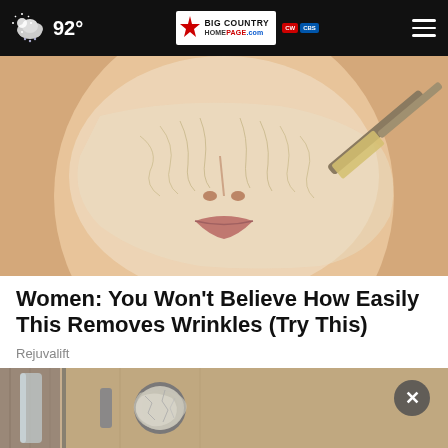92° Big Country Homepage.com
[Figure (photo): Close-up photo of a woman's face with a clear gel/serum mask being applied with a brush tool]
Women: You Won't Believe How Easily This Removes Wrinkles (Try This)
Rejuvalift
[Figure (photo): Photo of a door knob/handle with aluminum foil wrapped around it, with an X close button overlay]